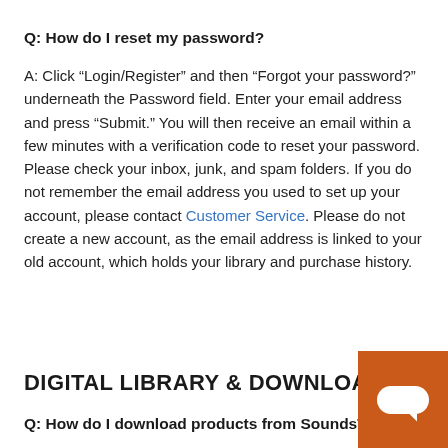Q: How do I reset my password?
A: Click “Login/Register” and then “Forgot your password?” underneath the Password field. Enter your email address and press “Submit.” You will then receive an email within a few minutes with a verification code to reset your password. Please check your inbox, junk, and spam folders. If you do not remember the email address you used to set up your account, please contact Customer Service. Please do not create a new account, as the email address is linked to your old account, which holds your library and purchase history.
DIGITAL LIBRARY & DOWNLOADS
Q: How do I download products from SoundsTrue.com